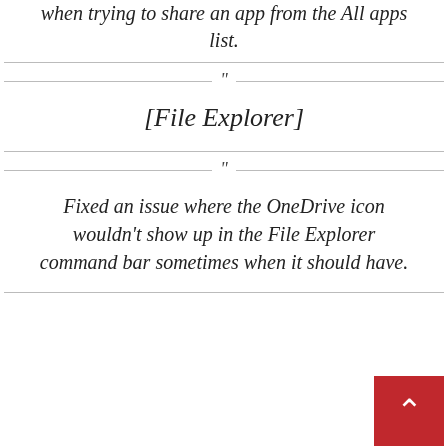when trying to share an app from the All apps list.
[File Explorer]
Fixed an issue where the OneDrive icon wouldn't show up in the File Explorer command bar sometimes when it should have.